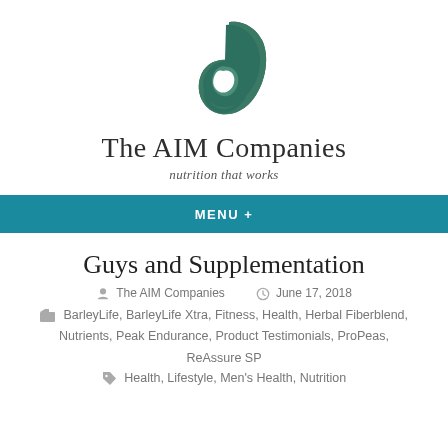[Figure (logo): The AIM Companies stylized letter 'a' logo in dark teal/green]
The AIM Companies
nutrition that works
MENU +
Guys and Supplementation
The AIM Companies   June 17, 2018
BarleyLife, BarleyLife Xtra, Fitness, Health, Herbal Fiberblend, Nutrients, Peak Endurance, Product Testimonials, ProPeas, ReAssure SP
Health, Lifestyle, Men's Health, Nutrition